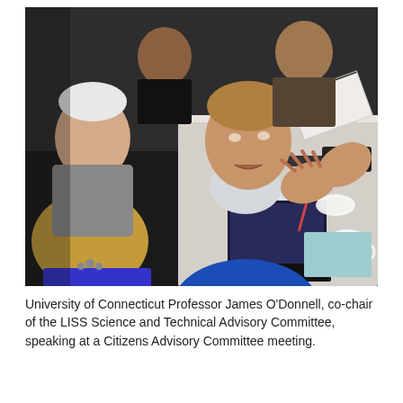[Figure (photo): University of Connecticut Professor James O'Donnell, wearing a blue sweater, speaking and gesturing with his hands at a meeting table. Several other people are seated around a conference table with name placards, papers, laptops, and coffee cups. A woman in blue is visible in the foreground.]
University of Connecticut Professor James O'Donnell, co-chair of the LISS Science and Technical Advisory Committee, speaking at a Citizens Advisory Committee meeting.